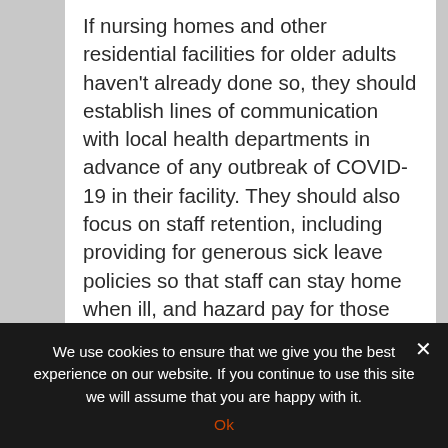If nursing homes and other residential facilities for older adults haven't already done so, they should establish lines of communication with local health departments in advance of any outbreak of COVID-19 in their facility. They should also focus on staff retention, including providing for generous sick leave policies so that staff can stay home when ill, and hazard pay for those who can come to work.
And, the team says, nursing homes should
We use cookies to ensure that we give you the best experience on our website. If you continue to use this site we will assume that you are happy with it.
Ok